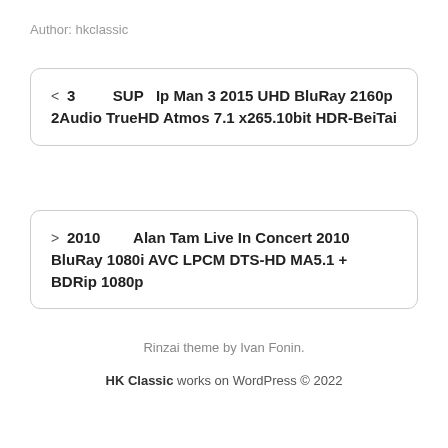Author: hkclassic
< 3   SUP  Ip Man 3 2015 UHD BluRay 2160p 2Audio TrueHD Atmos 7.1 x265.10bit HDR-BeiTai
> 2010   Alan Tam Live In Concert 2010 BluRay 1080i AVC LPCM DTS-HD MA5.1 + BDRip 1080p
Rinzai theme by Ivan Fonin.
HK Classic works on WordPress © 2022